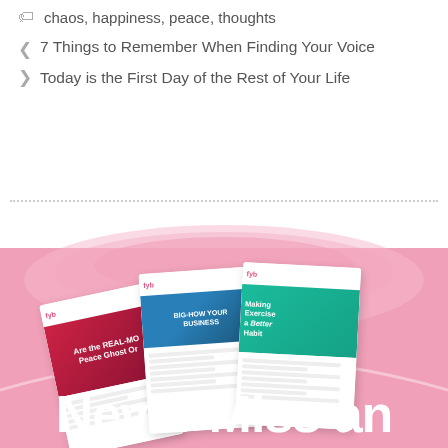chaos, happiness, peace, thoughts
7 Things to Remember When Finding Your Voice
Today is the First Day of the Rest of Your Life
[Figure (illustration): Newsletter signup promotional graphic showing fanned-out newsletter pages over a pink envelope-like background with text 'Never Miss an']